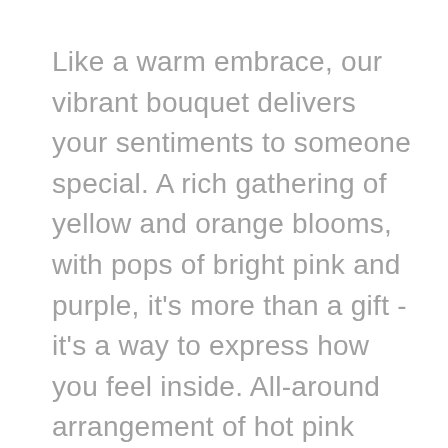Like a warm embrace, our vibrant bouquet delivers your sentiments to someone special. A rich gathering of yellow and orange blooms, with pops of bright pink and purple, it's more than a gift - it's a way to express how you feel inside. All-around arrangement of hot pink roses and carnations; orange Asiatic lilies and Peruvian lilies (alstroemeria); yellow sunflowers or similar blooms; lavender stock; purple monte casino; green Athos poms; accented with assorted greenery Artistically designed in a glass vase Large arrangement does not include carnations